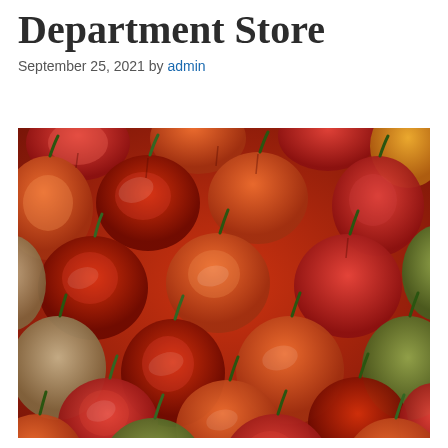Department Store
September 25, 2021 by admin
[Figure (photo): Close-up photograph of a large pile of colorful hot peppers (scotch bonnet / habanero style), in shades of red, orange, yellow, and green, filling the entire frame.]